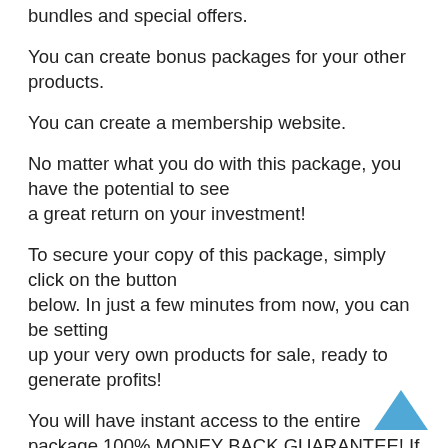bundles and special offers.
You can create bonus packages for your other products.
You can create a membership website.
No matter what you do with this package, you have the potential to see a great return on your investment!
To secure your copy of this package, simply click on the button below. In just a few minutes from now, you can be setting up your very own products for sale, ready to generate profits!
You will have instant access to the entire package.100% MONEY BACK GUARANTEE! If you are